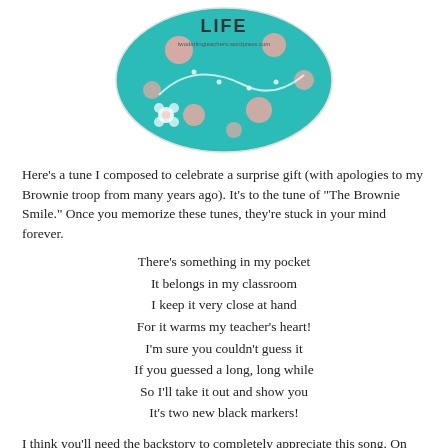[Figure (illustration): Circular teal/turquoise decorative badge with floral and dot pattern, text partially visible at top reading 'LIFE' with a blog URL, flower and vine decorations on a teal background with pink/peach circles]
Here's a tune I composed to celebrate a surprise gift (with apologies to my Brownie troop from many years ago).  It's to the tune of "The Brownie Smile."  Once you memorize these tunes, they're stuck in your mind forever.
There's something in my pocket
It belongs in my classroom
I keep it very close at hand
For it warms my teacher's heart!
I'm sure you couldn't guess it
If you guessed a long, long while
So I'll take it out and show you
It's two new black markers!
I think you'll need the backstory to completely appreciate this song.  On Tuesday I went in search of black markers, but to no avail.  None in the storage drawers in our teacher work room, none lying around the library (I considered petty thievery, though I would have left a colored marker in exchange), and none in my next door neighbor's classroom (I asked).  I resigned myself to